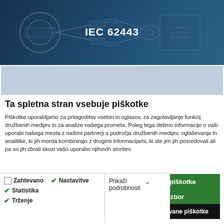[Figure (photo): Hero image showing industrial robot gripper / mechanical hand against dark blue tinted background with text 'IEC 62443' centered in white bold.]
Ta spletna stran vsebuje piškotke
Piškotke uporabljamo za prilagoditev vsebin in oglasov, za zagotavljanje funkcij družbenih medijev in za analize našega prometa. Poleg tega delimo informacije o vaši uporabi našega mesta z našimi partnerji s področja družbenih medijev, oglaševanja in analitike, ki jih morda kombinirajo z drugimi informacijami, ki ste jim jih posredovali ali pa so jih zbrali skozi vašo uporabo njihovih storitev.
Dovoli vse piškotke
Dovoli izbor
Uporabi le zahtevane piškotke
Zahtevano  Nastavitve  Statistika  Trženje  Prikaži podrobnosti